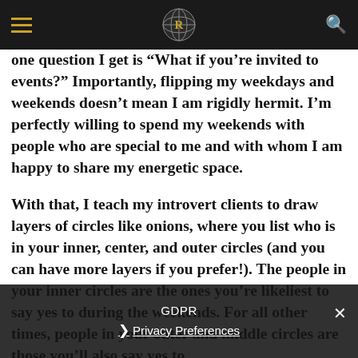[Navigation bar with hamburger menu, logo, and search icon]
1. Curate your circle
one question I get is "What if you're invited to events?" Importantly, flipping my weekdays and weekends doesn't mean I am rigidly hermit. I'm perfectly willing to spend my weekends with people who are special to me and with whom I am happy to share my energetic space.
With that, I teach my introvert clients to draw layers of circles like onions, where you list who is in your inner, center, and outer circles (and you can have more layers if you prefer!). The people in your inner circles are the ones you're likeliest to say yes to during the weekends. For all other times, people in your outer and middle circles are those you'll also say yes to…
GDPR
Privacy Preferences